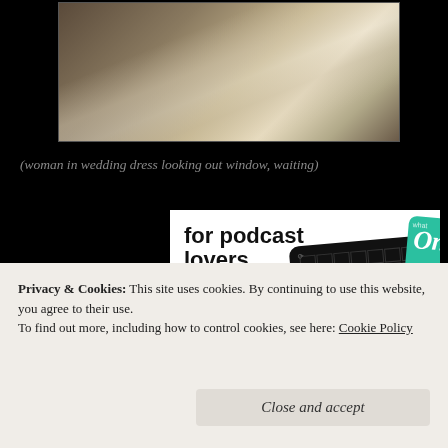[Figure (photo): Woman in wedding dress with veil, looking out window, dark moody background]
(woman in wedding dress looking out window, waiting)
[Figure (infographic): Advertisement for a podcast app: 'for podcast lovers. Download now' with 99% Invisible podcast card and other app cards shown]
Privacy & Cookies:  This site uses cookies. By continuing to use this website, you agree to their use.
To find out more, including how to control cookies, see here: Cookie Policy
Close and accept